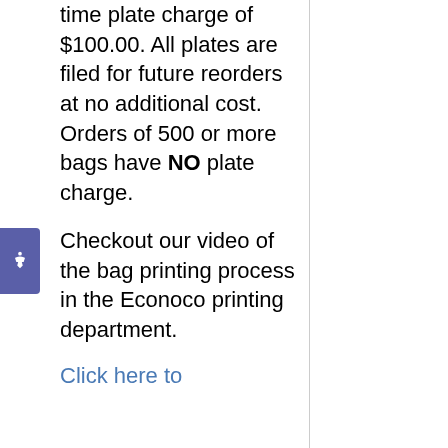time plate charge of $100.00. All plates are filed for future reorders at no additional cost. Orders of 500 or more bags have NO plate charge.
Checkout our video of the bag printing process in the Econoco printing department.
Click here to